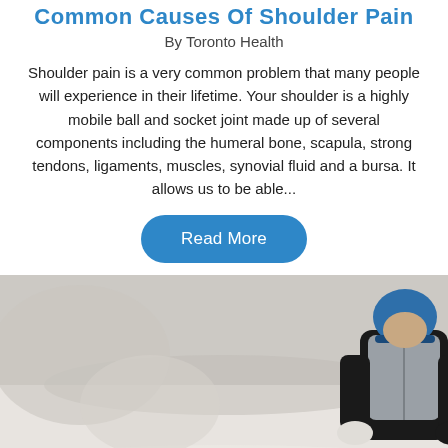Common Causes Of Shoulder Pain
By Toronto Health
Shoulder pain is a very common problem that many people will experience in their lifetime. Your shoulder is a highly mobile ball and socket joint made up of several components including the humeral bone, scapula, strong tendons, ligaments, muscles, synovial fluid and a bursa. It allows us to be able...
Read More
[Figure (photo): Person dressed in winter outdoor gear (dark jacket, grey vest, blue hat) bending over in a snowy outdoor setting, apparently experiencing shoulder or back pain.]